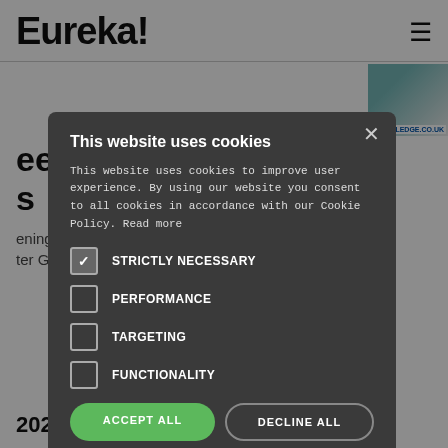Eureka!
[Figure (screenshot): Cookie consent modal overlay on top of a website page showing Eureka! logo and article content about engineering and Winter Games 2022 in Beijing, Williams Advaced]
This website uses cookies
This website uses cookies to improve user experience. By using our website you consent to all cookies in accordance with our Cookie Policy. Read more
STRICTLY NECESSARY (checked)
PERFORMANCE (unchecked)
TARGETING (unchecked)
FUNCTIONALITY (unchecked)
ACCEPT ALL | DECLINE ALL
SHOW DETAILS